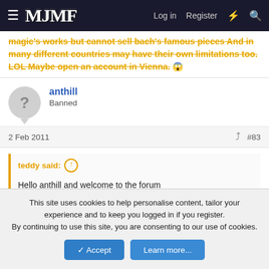MJMF — Log in  Register
magic's works but cannot sell bach's famous pieces And in many different countries may have their own limitations too. LOL Maybe open an account in Vienna. 😱
anthill
Banned
2 Feb 2011  #83
teddy said:
Hello anthill and welcome to the forum
Trust you will continue to enjoy the experience
teddy
This site uses cookies to help personalise content, tailor your experience and to keep you logged in if you register.
By continuing to use this site, you are consenting to our use of cookies.